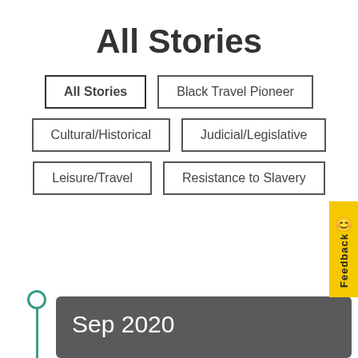All Stories
All Stories
Black Travel Pioneer
Cultural/Historical
Judicial/Legislative
Leisure/Travel
Resistance to Slavery
Sep 2020